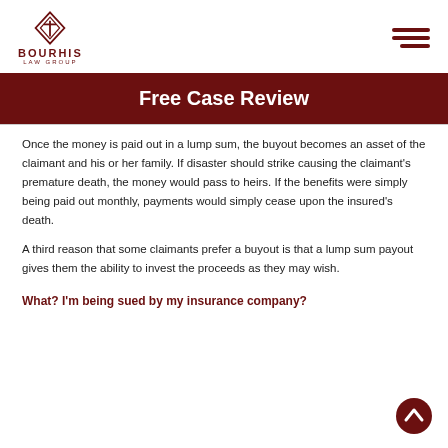[Figure (logo): Bourhis Law Group logo with diamond shield icon and text BOURHIS LAW GROUP in dark red]
Free Case Review
Once the money is paid out in a lump sum, the buyout becomes an asset of the claimant and his or her family. If disaster should strike causing the claimant's premature death, the money would pass to heirs. If the benefits were simply being paid out monthly, payments would simply cease upon the insured's death.
A third reason that some claimants prefer a buyout is that a lump sum payout gives them the ability to invest the proceeds as they may wish.
What? I'm being sued by my insurance company?